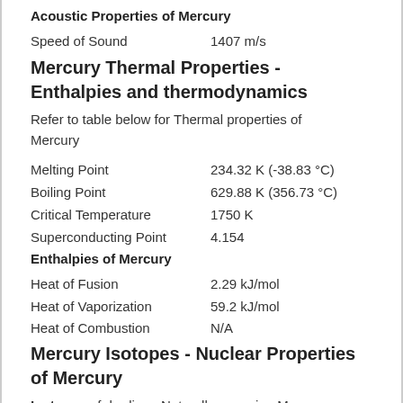Acoustic Properties of Mercury
Speed of Sound 1407 m/s
Mercury Thermal Properties - Enthalpies and thermodynamics
Refer to table below for Thermal properties of Mercury
Melting Point    234.32 K (-38.83 °C)
Boiling Point    629.88 K (356.73 °C)
Critical Temperature    1750 K
Superconducting Point    4.154
Enthalpies of Mercury
Heat of Fusion    2.29 kJ/mol
Heat of Vaporization    59.2 kJ/mol
Heat of Combustion    N/A
Mercury Isotopes - Nuclear Properties of Mercury
Isotopes of rhodium. Naturally occurring Mercury has 7 stable isotope - 196Hg, 198Hg, 199Hg,